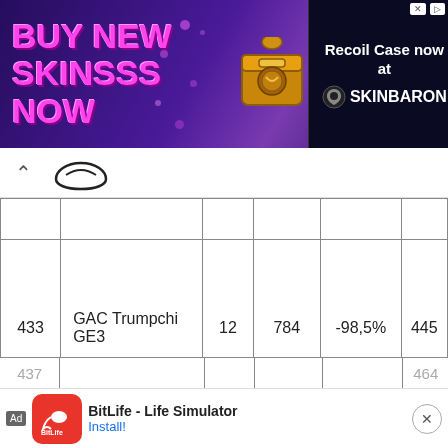[Figure (screenshot): Advertisement banner: BUY NEW SKINSSS NOW with chest image and SkinBaron Recoil Case promotion]
| # | Name |  |  | Change |  |
| --- | --- | --- | --- | --- | --- |
| 433 | GAC Trumpchi GE3 | 12 | 784 | -98,5% | 445 |
| 434 | Lifan 820 | 11 | 0 | New | 505 |
| 435 | Arcfox Lite | 10 | 33 | -69,7% | 510 |
| 436 | Brilliance V3 | 9 | 977 | -99,1% | 330 |
| 437 |  |  |  |  | 464 |
[Figure (screenshot): Bottom advertisement for BitLife - Life Simulator app with Install button]